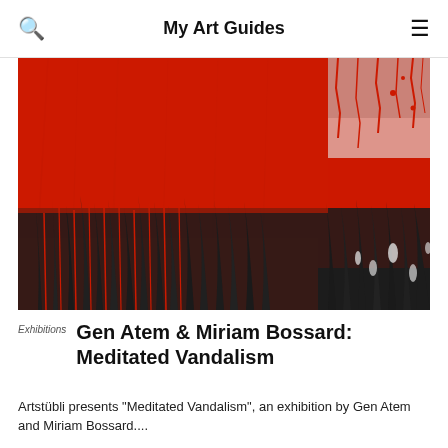My Art Guides
[Figure (photo): Abstract painting with vivid red paint strokes over a dark grey/black textured background. The upper portion is dominated by red, while the lower portion shows dark vertical brush strokes rising upward, creating a flame-like or grass-like texture. A small white/grey patch with red drips appears in the upper right corner.]
Exhibitions
Gen Atem & Miriam Bossard: Meditated Vandalism
Artstübli presents "Meditated Vandalism", an exhibition by Gen Atem and Miriam Bossard....